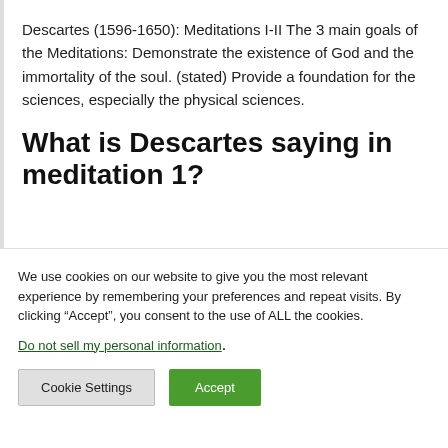Descartes (1596-1650): Meditations I-II The 3 main goals of the Meditations: Demonstrate the existence of God and the immortality of the soul. (stated) Provide a foundation for the sciences, especially the physical sciences.
What is Descartes saying in meditation 1?
We use cookies on our website to give you the most relevant experience by remembering your preferences and repeat visits. By clicking “Accept”, you consent to the use of ALL the cookies.
Do not sell my personal information.